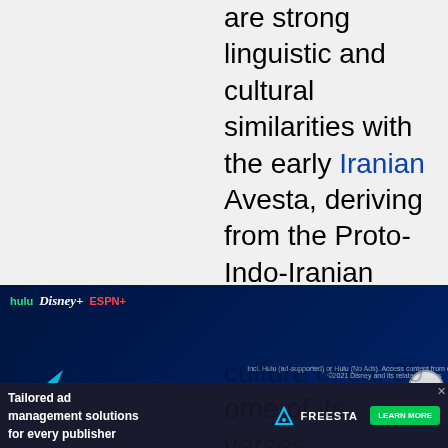are strong linguistic and cultural similarities with the early Iranian Avesta, deriving from the Proto-Indo-Iranian times, often associated with the early Andronovo (Sintashta-Petrovka)
[Figure (infographic): Disney Bundle advertisement showing Hulu, Disney+, and ESPN+ logos with GET THE DISNEY BUNDLE button on dark blue background]
[Figure (infographic): Freestar tailored ad management solutions advertisement with green checkmark icons and Learn More button]
culture of ca. 00 ome of its verses